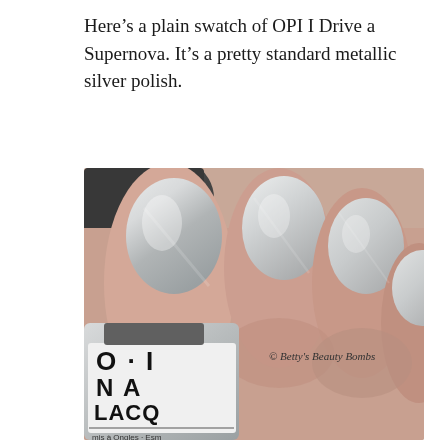Here's a plain swatch of OPI I Drive a Supernova. It's a pretty standard metallic silver polish.
[Figure (photo): Close-up photo of a hand with metallic silver nail polish (OPI I Drive a Supernova), with the OPI Nail Lacquer bottle partially visible in the lower left. Watermark reads '© Betty's Beauty Bombs'.]